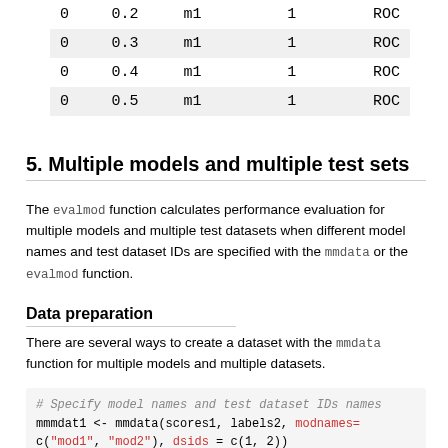| 0 | 0.2 | m1 |  | 1 |  | ROC |
| 0 | 0.3 | m1 |  | 1 |  | ROC |
| 0 | 0.4 | m1 |  | 1 |  | ROC |
| 0 | 0.5 | m1 |  | 1 |  | ROC |
5. Multiple models and multiple test sets
The evalmod function calculates performance evaluation for multiple models and multiple test datasets when different model names and test dataset IDs are specified with the mmdata or the evalmod function.
Data preparation
There are several ways to create a dataset with the mmdata function for multiple models and multiple datasets.
# Specify model names and test dataset IDs names
mmmdat1 <- mmdata(scores1, labels2, modnames=
c("mod1", "mod2"), dsids = c(1, 2))